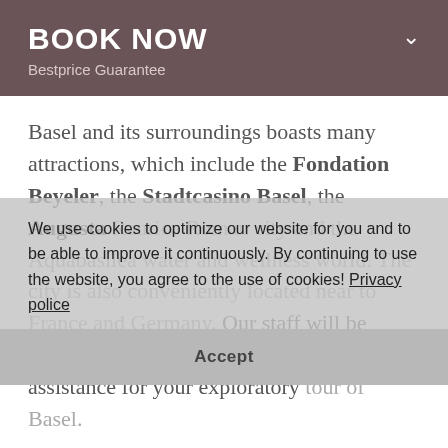BOOK NOW
Bestprice Guarantee
Basel and its surroundings boasts many attractions, which include the Fondation Beyeler, the Stadtcasino Basel, the Augusta Raurica Roman city and the Aquabasilea water and wellness world. The city is also conveniently located near to France and Germany. Our staff will be happy to provide you with advice and assistance for your exploratory tour of Basel.
We use cookies to optimize our website for you and to be able to improve it continuously. By continuing to use the website, you agree to the use of cookies! Privacy police
Accept